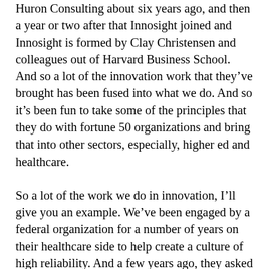Huron Consulting about six years ago, and then a year or two after that Innosight joined and Innosight is formed by Clay Christensen and colleagues out of Harvard Business School. And so a lot of the innovation work that they've brought has been fused into what we do. And so it's been fun to take some of the principles that they do with fortune 50 organizations and bring that into other sectors, especially, higher ed and healthcare.
So a lot of the work we do in innovation, I'll give you an example. We've been engaged by a federal organization for a number of years on their healthcare side to help create a culture of high reliability. And a few years ago, they asked us to come up and brainstorm a bit with the center of innovation at the same organization. And they said, how do you create an organizational culture that aspires to be highly